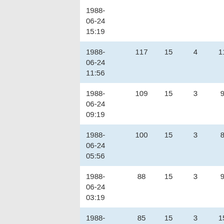| datetime | col1 | col2 | col3 | col4 |
| --- | --- | --- | --- | --- |
| 1988-06-24 15:19 |  |  |  |  |
| 1988-06-24 11:56 | 117 | 15 | 4 | 11 |
| 1988-06-24 09:19 | 109 | 15 | 3 | 9 |
| 1988-06-24 05:56 | 100 | 15 | 3 | 8 |
| 1988-06-24 03:19 | 88 | 15 | 3 | 9 |
| 1988-06-23 23:56 | 85 | 15 | 3 | 15 |
| 1988- | 87 | 15 | 3 | 17 |